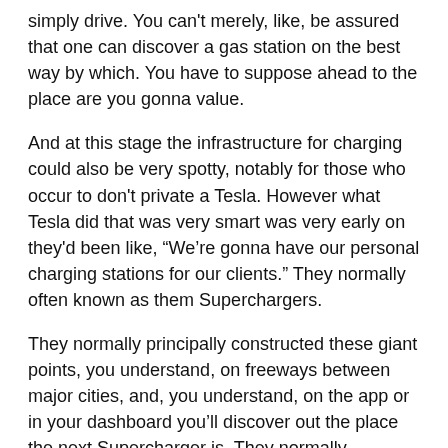simply drive. You can't merely, like, be assured that one can discover a gas station on the best way by which. You have to suppose ahead to the place are you gonna value.
And at this stage the infrastructure for charging could also be very spotty, notably for those who occur to don't private a Tesla. However what Tesla did that was very smart was very early on they'd been like, “We’re gonna have our personal charging stations for our clients.” They normally often known as them Superchargers.
They normally principally constructed these giant points, you understand, on freeways between major cities, and, you understand, on the app or in your dashboard you’ll discover out the place the next Supercharger is. They normally principally constructed Superchargers the place they knew of us had been driving.